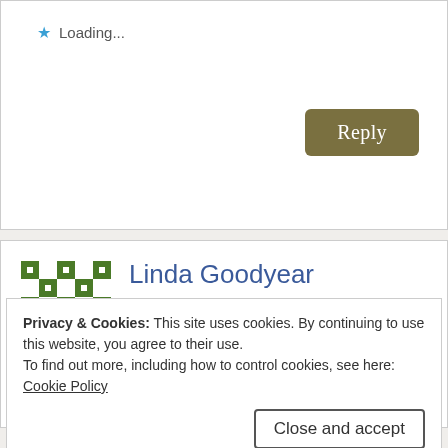Loading...
Reply
Linda Goodyear
October 4, 2019 at 8:03 am
Just beautiful Mary! I miss them living in Florida! Thanks for sharing
Loading...
Privacy & Cookies: This site uses cookies. By continuing to use this website, you agree to their use.
To find out more, including how to control cookies, see here:
Cookie Policy
Close and accept